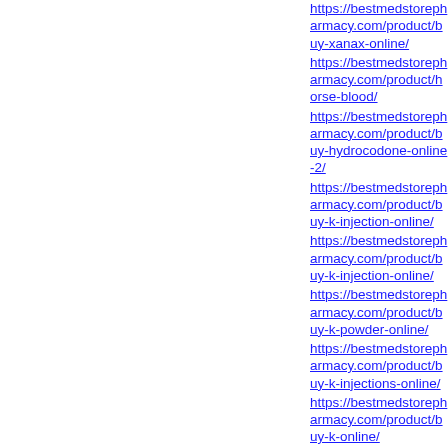https://bestmedstorepharmacy.com/product/buy-xanax-online/
https://bestmedstorepharmacy.com/product/horse-blood/
https://bestmedstorepharmacy.com/product/buy-hydrocodone-online-2/
https://bestmedstorepharmacy.com/product/buy-k-injection-online/
https://bestmedstorepharmacy.com/product/buy-k-injection-online/
https://bestmedstorepharmacy.com/product/buy-k-powder-online/
https://bestmedstorepharmacy.com/product/buy-k-injections-online/
https://bestmedstorepharmacy.com/product/buy-k-online/
https://bestmedstorepharmacy.com/product/buy-m-online/
https://bestmedstorepharmacy.com/product/buy-m-online/
https://bestmedstorepharmacy.com/product/buy-methamphetamine-online/
https://bestmedstorepharmacy.com/product/buy-methoxetamine-online/
https://bestmedstorepharmacy.com/product/buy-m-online/